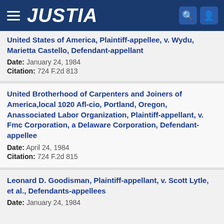JUSTIA
United States of America, Plaintiff-appellee, v. Wydu, Marietta Castello, Defendant-appellant
Date: January 24, 1984
Citation: 724 F.2d 813
United Brotherhood of Carpenters and Joiners of America,local 1020 Afl-cio, Portland, Oregon, Anassociated Labor Organization, Plaintiff-appellant, v. Fmc Corporation, a Delaware Corporation, Defendant-appellee
Date: April 24, 1984
Citation: 724 F.2d 815
Leonard D. Goodisman, Plaintiff-appellant, v. Scott Lytle, et al., Defendants-appellees
Date: January 24, 1984